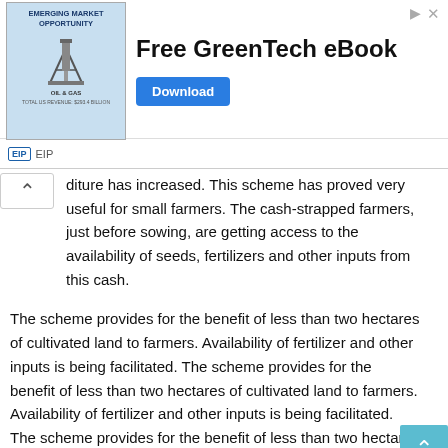[Figure (other): Advertisement banner for Free GreenTech eBook with oil & gas emerging market opportunity image and Download button, EIP logo at bottom]
diture has increased. This scheme has proved very useful for small farmers. The cash-strapped farmers, just before sowing, are getting access to the availability of seeds, fertilizers and other inputs from this cash.
The scheme provides for the benefit of less than two hectares of cultivated land to farmers. Availability of fertilizer and other inputs is being facilitated. The scheme provides for the benefit of less than two hectares of cultivated land to farmers. Availability of fertilizer and other inputs is being facilitated. The scheme provides for the benefit of less than two hectares of cultivated land to farmers.